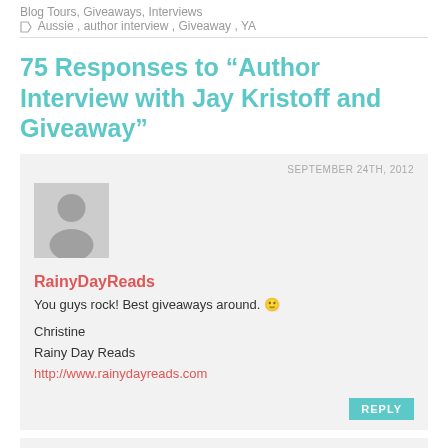Blog Tours, Giveaways, Interviews
Aussie , author interview , Giveaway , YA
75 Responses to "Author Interview with Jay Kristoff and Giveaway"
SEPTEMBER 24TH, 2012
[Figure (illustration): Gray silhouette avatar placeholder image]
RainyDayReads
You guys rock! Best giveaways around. 🙂

Christine
Rainy Day Reads
http://www.rainydayreads.com
REPLY
SEPTEMBER 24TH, 2012
[Figure (photo): Photo of a woman with brown hair]